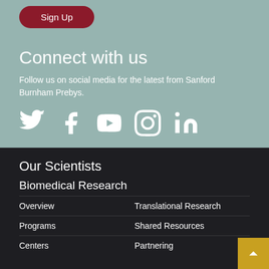[Figure (other): Dark red rounded Sign Up button]
Connect with us
Follow us on social media for the latest from Sanford Burnham Prebys.
[Figure (other): Social media icons: Twitter, Facebook, YouTube, Instagram, LinkedIn]
Our Scientists
Biomedical Research
Overview
Translational Research
Programs
Shared Resources
Centers
Partnering